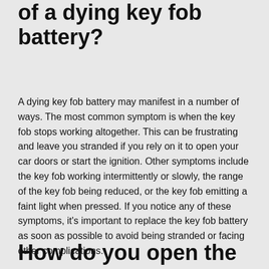of a dying key fob battery?
A dying key fob battery may manifest in a number of ways. The most common symptom is when the key fob stops working altogether. This can be frustrating and leave you stranded if you rely on it to open your car doors or start the ignition. Other symptoms include the key fob working intermittently or slowly, the range of the key fob being reduced, or the key fob emitting a faint light when pressed. If you notice any of these symptoms, it's important to replace the key fob battery as soon as possible to avoid being stranded or facing other complications.
How do you open the